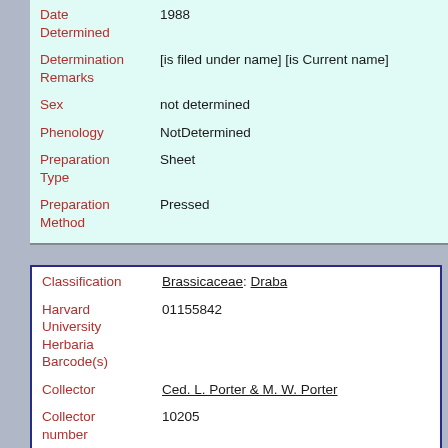| Field | Value |
| --- | --- |
| Date Determined | 1988 |
| Determination Remarks | [is filed under name] [is Current name] |
| Sex | not determined |
| Phenology | NotDetermined |
| Preparation Type | Sheet |
| Preparation Method | Pressed |
| Field | Value |
| --- | --- |
| Classification | Brassicaceae: Draba |
| Harvard University Herbaria Barcode(s) | 01155842 |
| Collector | Ced. L. Porter & M. W. Porter |
| Collector number | 10205 |
| Country | United States of America |
| State | Utah |